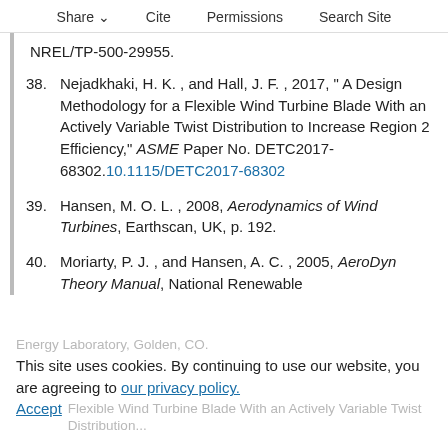Share  Cite  Permissions  Search Site
NREL/TP-500-29955.
38. Nejadkhaki, H. K. , and Hall, J. F. , 2017, " A Design Methodology for a Flexible Wind Turbine Blade With an Actively Variable Twist Distribution to Increase Region 2 Efficiency," ASME Paper No. DETC2017-68302.10.1115/DETC2017-68302
39. Hansen, M. O. L. , 2008, Aerodynamics of Wind Turbines, Earthscan, UK, p. 192.
40. Moriarty, P. J. , and Hansen, A. C. , 2005, AeroDyn Theory Manual, National Renewable Energy Laboratory, Golden, CO.
This site uses cookies. By continuing to use our website, you are agreeing to our privacy policy. Accept